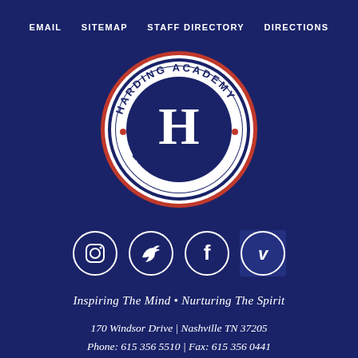EMAIL   SITEMAP   STAFF DIRECTORY   DIRECTIONS
[Figure (logo): Harding Academy circular seal with large H in center, text reading HARDING ACADEMY on top arc and EXCELLENTIA on bottom arc, with red dots, white and dark blue colors, on a dark navy background]
[Figure (infographic): Four circular social media icons in a row: Instagram, Twitter, Facebook, Vimeo. All outlined circles on dark navy, with Vimeo having a slightly lighter navy background square behind it.]
Inspiring The Mind • Nurturing The Spirit
170 Windsor Drive | Nashville TN 37205
Phone: 615 356 5510 | Fax: 615 356 0441